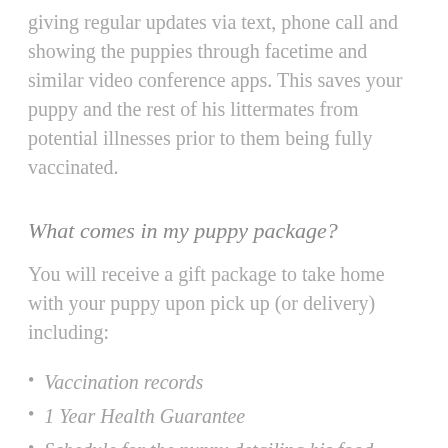giving regular updates via text, phone call and showing the puppies through facetime and similar video conference apps. This saves your puppy and the rest of his littermates from potential illnesses prior to them being fully vaccinated.
What comes in my puppy package?
You will receive a gift package to take home with your puppy upon pick up (or delivery) including:
Vaccination records
1 Year Health Guarantee
Schedule for the puppy detailing his food